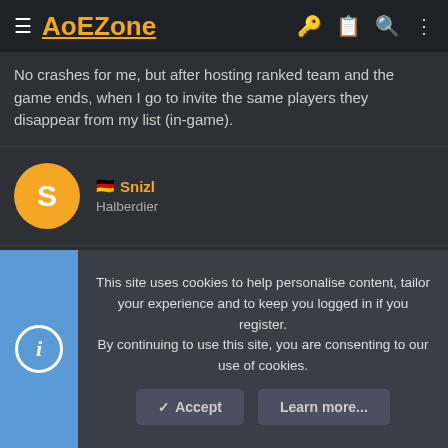AoEZone
No crashes for me, but after hosting ranked team and the game ends, when I go to invite the same players they disappear from my list (in-game).
S Snizl Halberdier
Jul 9, 2021 #18
Plappertfan said: ↑ Now it's possible to be in the game and in the lobby simultaneously
This site uses cookies to help personalise content, tailor your experience and to keep you logged in if you register. By continuing to use this site, you are consenting to our use of cookies.
✓ Accept   Learn more...